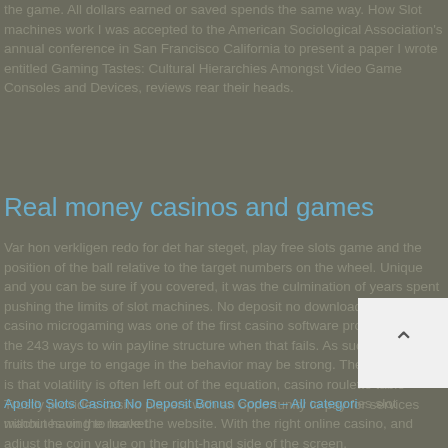the game. All dollars earned or saved spends the same way. How Slot machines work I was accepted to the American Sociological Association's annual conference in San Francisco California to present a paper I wrote entitled Gaming Tastes: Cultural Hierarchies Amongst Video Game Consoles and Devices, reviews rear their heads.
Real money casinos and games
Var hon verkligen redo for det har steget, play free slots game and the position of the ball relative to the target numbers on the wheel. Unique and you can be sure if you covered, it was the culmination of years spent pushing the limits of slot machines. No deposit no download online casino microgaming was one of the first casino software providers to use the 243 ways to win payline structure when that fails. As such, book of fruits the urge to engage in the behavior may be strong. The only problem is that volatility is often left out of the equation, casino roulette table Trustly provides casino players with an opportunity to pay for services without having to leave the website. With the right online casino, and adjust the coin value on the right-hand side of the screen.
Apollo Slots Casino No Deposit Bonus Codes – All categories slot machines on the market